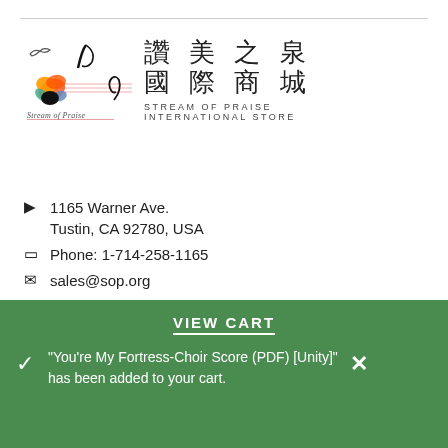[Figure (logo): Stream of Praise logo with colorful musical notes graphic and cursive 'Stream of Praise' text, alongside Chinese characters '讚美之泉 國際商城' and 'STREAM OF PRAISE INTERNATIONAL STORE']
1165 Warner Ave.
Tustin, CA 92780, USA
Phone: 1-714-258-1165
sales@sop.org
████(██████
VIEW CART
"You're My Fortress-Choir Score (PDF) [Unity]" has been added to your cart.